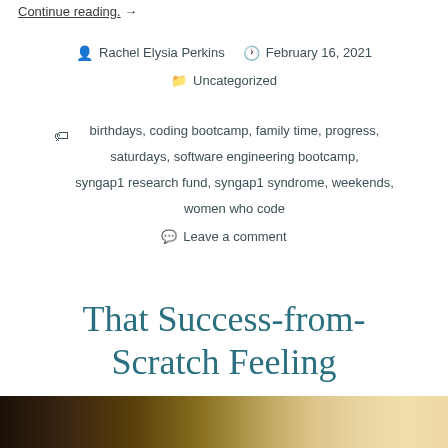Continue reading. →
Rachel Elysia Perkins   February 16, 2021
Uncategorized
birthdays, coding bootcamp, family time, progress, saturdays, software engineering bootcamp, syngap1 research fund, syngap1 syndrome, weekends, women who code
Leave a comment
That Success-from-Scratch Feeling
[Figure (photo): Bottom portion of a photo, showing what appears to be a person's hands with warm tones.]